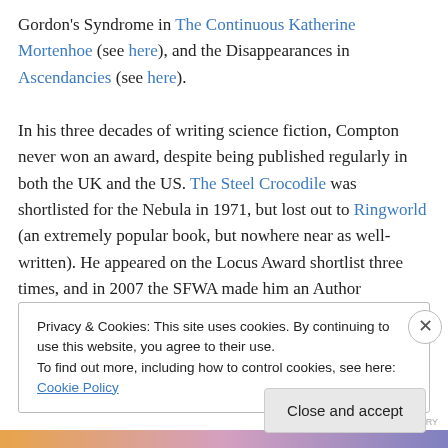Gordon's Syndrome in The Continuous Katherine Mortenhoe (see here), and the Disappearances in Ascendancies (see here).
In his three decades of writing science fiction, Compton never won an award, despite being published regularly in both the UK and the US. The Steel Crocodile was shortlisted for the Nebula in 1971, but lost out to Ringworld (an extremely popular book, but nowhere near as well-written). He appeared on the Locus Award shortlist three times, and in 2007 the SFWA made him an Author
Privacy & Cookies: This site uses cookies. By continuing to use this website, you agree to their use.
To find out more, including how to control cookies, see here: Cookie Policy
Close and accept